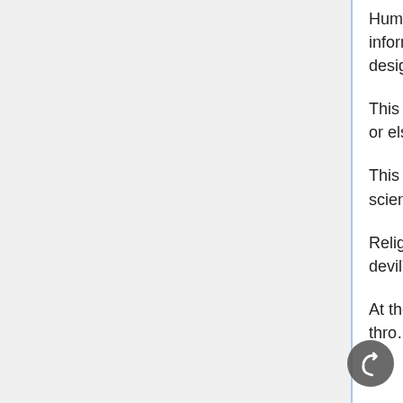Humans are "computerized" by the universal mind to assimilate information in various ways, since not every human being is cosmically designed the same; period!
This is why wars and disagreements start at home with ones loved ones or elsewhere, in one's immediate environment.
This traditionally “educated” crowd will refer to astrology as only a pseudo-science, which is a Greek prefix, signifying bogus.
Religious fanatics, skeptics, and ignorant will refer to it as “the work of the devil” or both.
At the same time, keep in mind that this material is also be manipulated through subconscious and the supraconscious